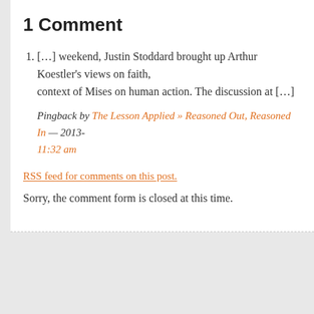1 Comment
[…] weekend, Justin Stoddard brought up Arthur Koestler's views on faith, context of Mises on human action. The discussion at […]
Pingback by The Lesson Applied » Reasoned Out, Reasoned In — 2013-1 11:32 am
RSS feed for comments on this post.
Sorry, the comment form is closed at this time.